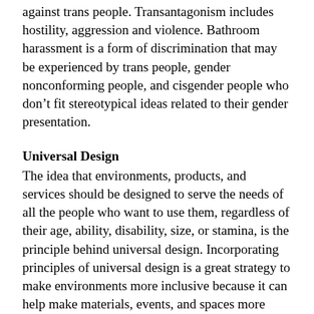against trans people. Transantagonism includes hostility, aggression and violence. Bathroom harassment is a form of discrimination that may be experienced by trans people, gender nonconforming people, and cisgender people who don't fit stereotypical ideas related to their gender presentation.
Universal Design
The idea that environments, products, and services should be designed to serve the needs of all the people who want to use them, regardless of their age, ability, disability, size, or stamina, is the principle behind universal design. Incorporating principles of universal design is a great strategy to make environments more inclusive because it can help make materials, events, and spaces more accessible.
White Supremacy